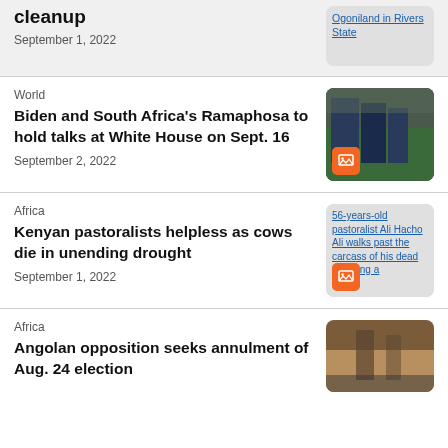cleanup
September 1, 2022
Ogoniland in Rivers State
World
Biden and South Africa's Ramaphosa to hold talks at White House on Sept. 16
September 2, 2022
Africa
Kenyan pastoralists helpless as cows die in unending drought
September 1, 2022
56-years-old pastoralist Ali Hacho Ali walks past the carcass of his dead following a
Africa
Angolan opposition seeks annulment of Aug. 24 election